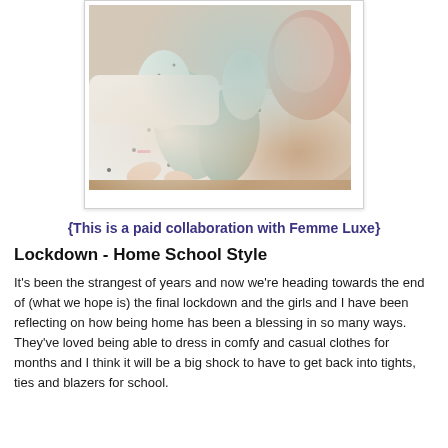[Figure (photo): A person sitting on a bed wearing light blue/mint pajamas and a white patterned top, with a fluffy blanket or stuffed animal visible in the background.]
{This is a paid collaboration with Femme Luxe}
Lockdown - Home School Style
It's been the strangest of years and now we're heading towards the end of (what we hope is) the final lockdown and the girls and I have been reflecting on how being home has been a blessing in so many ways. They've loved being able to dress in comfy and casual clothes for months and I think it will be a big shock to have to get back into tights, ties and blazers for school.